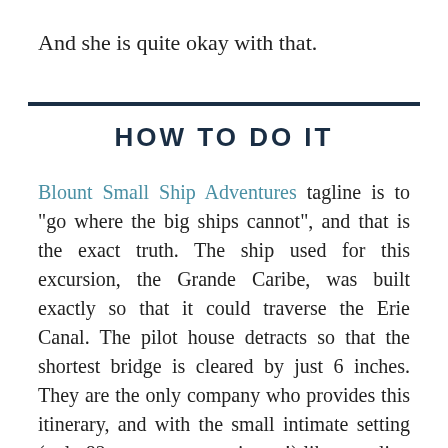And she is quite okay with that.
HOW TO DO IT
Blount Small Ship Adventures tagline is to “go where the big ships cannot”, and that is the exact truth. The ship used for this excursion, the Grande Caribe, was built exactly so that it could traverse the Erie Canal. The pilot house detracts so that the shortest bridge is cleared by just 6 inches. They are the only company who provides this itinerary, and with the small intimate setting (only 82 passengers maximum!) like traveling on a friend’s yacht. Captain was cautious and considerate, the